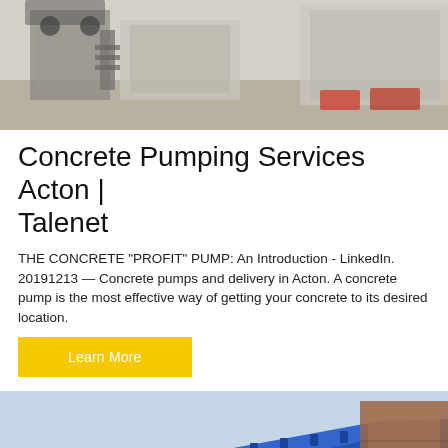[Figure (photo): Industrial facility or warehouse with heavy equipment, vehicles, and machinery visible in an outdoor/indoor setting with neutral tones.]
Concrete Pumping Services Acton | Talenet
THE CONCRETE "PROFIT" PUMP: An Introduction - LinkedIn. 20191213 — Concrete pumps and delivery in Acton. A concrete pump is the most effective way of getting your concrete to its desired location.
Learn More
[Figure (photo): Close-up of blue industrial conveyor or concrete pump equipment structure against a light sky background, with a container visible on the right side.]